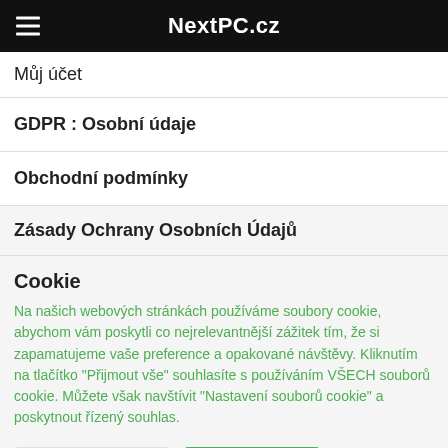NextPC.cz
Můj účet
GDPR : Osobní údaje
Obchodní podmínky
Zásady Ochrany Osobních Údajů
Cookie
Na našich webových stránkách používáme soubory cookie, abychom vám poskytli co nejrelevantnější zážitek tím, že si zapamatujeme vaše preference a opakované návštěvy. Kliknutím na tlačítko "Přijmout vše" souhlasíte s používáním VŠECH souborů cookie. Můžete však navštívit "Nastavení souborů cookie" a poskytnout řízený souhlas.
Cookie nastavení | Přijmout vše